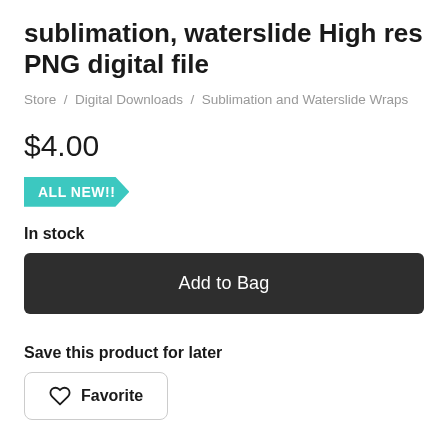sublimation, waterslide High res PNG digital file
Store / Digital Downloads / Sublimation and Waterslide Wraps
$4.00
ALL NEW!!
In stock
Add to Bag
Save this product for later
Favorite